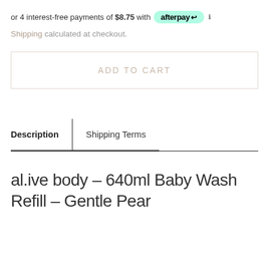or 4 interest-free payments of $8.75 with afterpay ℹ
Shipping calculated at checkout.
ADD TO CART
| Description | Shipping Terms |
| --- | --- |
al.ive body – 640ml Baby Wash Refill – Gentle Pear